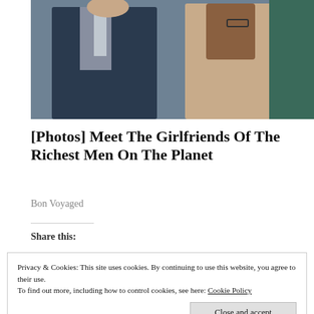[Figure (photo): Two people sitting side by side: a man in a dark suit with a light tie on the left, and a woman in a beige lace outfit with a pink flower accessory on the right]
[Photos] Meet The Girlfriends Of The Richest Men On The Planet
Bon Voyaged
Share this:
Privacy & Cookies: This site uses cookies. By continuing to use this website, you agree to their use. To find out more, including how to control cookies, see here: Cookie Policy
Close and accept